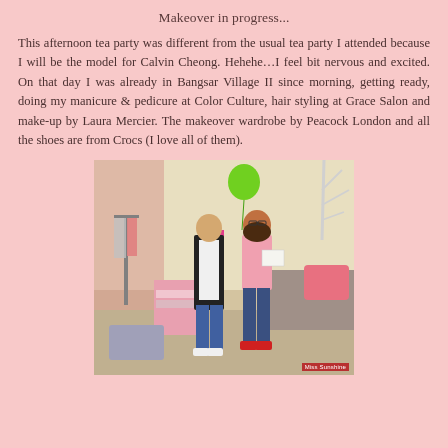Makeover in progress...
This afternoon tea party was different from the usual tea party I attended because I will be the model for Calvin Cheong. Hehehe…I feel bit nervous and excited. On that day I was already in Bangsar Village II since morning, getting ready, doing my manicure & pedicure at Color Culture, hair styling at Grace Salon and make-up by Laura Mercier. The makeover wardrobe by Peacock London and all the shoes are from Crocs (I love all of them).
[Figure (photo): Two people inside a clothing store/salon: a man in black jacket and a woman in pink top holding papers, surrounded by clothes on racks, pink balloons and decorations. Watermark reads 'Miss Sunshine'.]